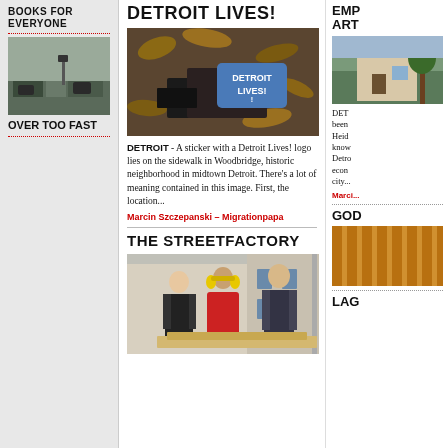BOOKS FOR EVERYONE
[Figure (photo): Street scene with cars and traffic camera]
OVER TOO FAST
DETROIT LIVES!
[Figure (photo): Detroit Lives! sticker lying on sidewalk with debris and leaves]
DETROIT - A sticker with a Detroit Lives! logo lies on the sidewalk in Woodbridge, historic neighborhood in midtown Detroit. There's a lot of meaning contained in this image. First, the location...
Marcin Szczepanski – Migrationpapa
THE STREETFACTORY
[Figure (photo): Three men at a construction site, one wearing yellow ear protection and red shirt]
EMP ART
[Figure (photo): House exterior photo]
DET... been... Heid... know... Detro... econ... city...
Marci...
GOD
[Figure (photo): Yellow/orange subject photo]
LAG